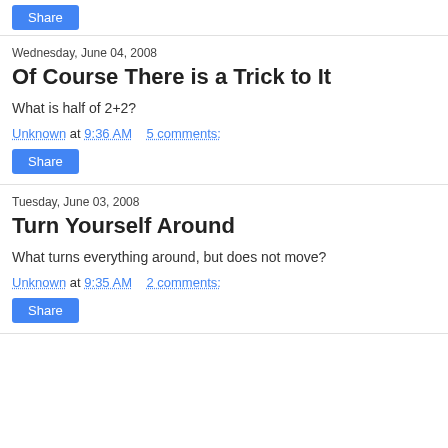Share
Wednesday, June 04, 2008
Of Course There is a Trick to It
What is half of 2+2?
Unknown at 9:36 AM    5 comments:
Share
Tuesday, June 03, 2008
Turn Yourself Around
What turns everything around, but does not move?
Unknown at 9:35 AM    2 comments:
Share